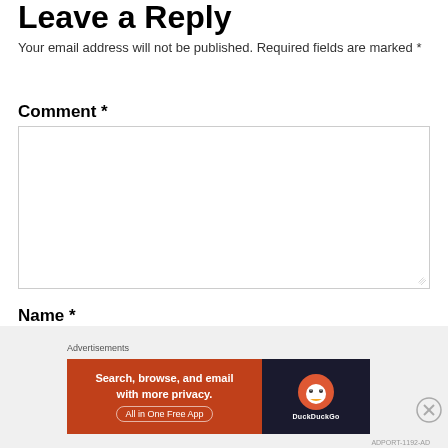Leave a Reply
Your email address will not be published. Required fields are marked *
Comment *
Name *
Advertisements
[Figure (screenshot): DuckDuckGo advertisement banner: 'Search, browse, and email with more privacy. All in One Free App' with DuckDuckGo logo on dark background]